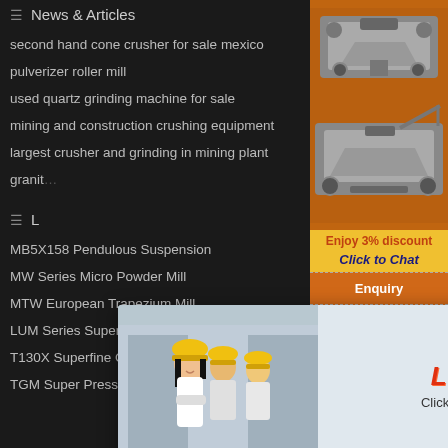News & Articles
second hand cone crusher for sale mexico
pulverizer roller mill
used quartz grinding machine for sale
mining and construction crushing equipment
largest crusher and grinding in mining plant
granite ...
L...
MB5X158 Pendulous Suspension
MW Series Micro Powder Mill
MTW European Trapezium Mill
LUM Series Superfine Vertical R
T130X Superfine Grinding Mill
TGM Super Pressure Trapezium Mi
[Figure (infographic): Live Chat popup overlay with photo of workers in hard hats, red LIVE CHAT title, 'Click for a Free Consultation' text, Chat now (red button) and Chat later (dark button)]
[Figure (infographic): Orange sidebar with mining machine images, Enjoy 3% discount, Click to Chat in yellow bar, Enquiry button, limingjlmofen@sina.com email]